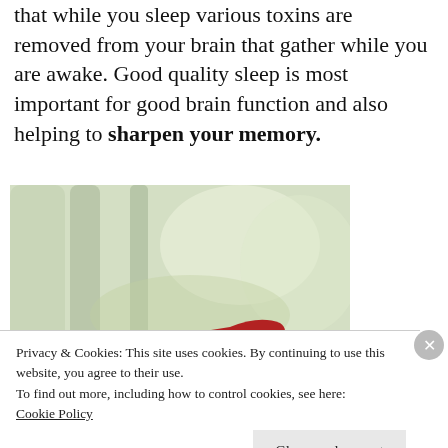that while you sleep various toxins are removed from your brain that gather while you are awake. Good quality sleep is most important for good brain function and also helping to sharpen your memory.
[Figure (photo): A woman with red hair lying on her back outdoors on grass, wearing a red top, with trees visible in the blurred background.]
Privacy & Cookies: This site uses cookies. By continuing to use this website, you agree to their use.
To find out more, including how to control cookies, see here: Cookie Policy
Close and accept